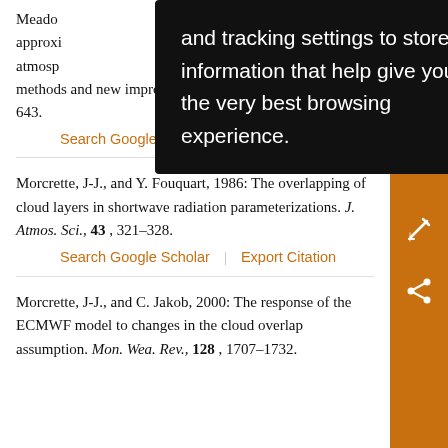Meadows, P.B. ... stream approximi... atmosph... methods and new improvement. J. Atmos. Sci., 37, 630–643.
Search Google Scholar | Export Citation
Morcrette, J-J., and Y. Fouquart, 1986: The overlapping of cloud layers in shortwave radiation parameterizations. J. Atmos. Sci., 43, 321–328.
Search Google Scholar | Export Citation
Morcrette, J-J., and C. Jakob, 2000: The response of the ECMWF model to changes in the cloud overlap assumption. Mon. Wea. Rev., 128, 1707–1732.
[Figure (screenshot): Browser tooltip overlay with black background showing text: 'and tracking settings to store information that help give you the very best browsing experience.']